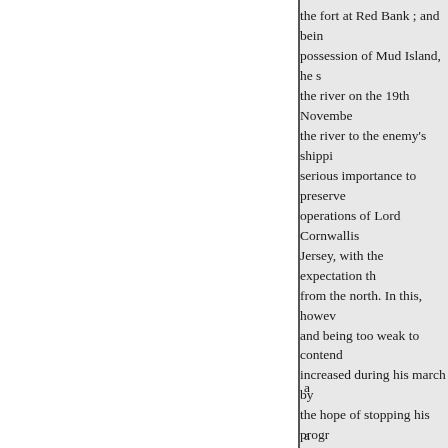the fort at Red Bank ; and being possession of Mud Island, he s the river on the 19th Novembe the river to the enemy's shippi serious importance to preserve operations of Lord Cornwallis Jersey, with the expectation th from the north. In this, howev and being too weak to contend increased during his march by the hope of stopping his progr little fort to the last; but being evacuated, and left to fall into thus lost their only protection, few were saved by creeping up of the enemy's batteries.
The Marquis de la Fayette, wh the army, on the 25th Novemb
a
a